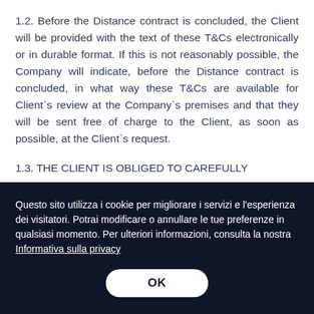1.2. Before the Distance contract is concluded, the Client will be provided with the text of these T&Cs electronically or in durable format. If this is not reasonably possible, the Company will indicate, before the Distance contract is concluded, in what way these T&Cs are available for Client`s review at the Company`s premises and that they will be sent free of charge to the Client, as soon as possible, at the Client`s request.
1.3. THE CLIENT IS OBLIGED TO CAREFULLY
Questo sito utilizza i cookie per migliorare i servizi e l'esperienza dei visitatori. Potrai modificare o annullare le tue preferenze in qualsiasi momento. Per ulteriori informazioni, consulta la nostra Informativa sulla privacy
OK